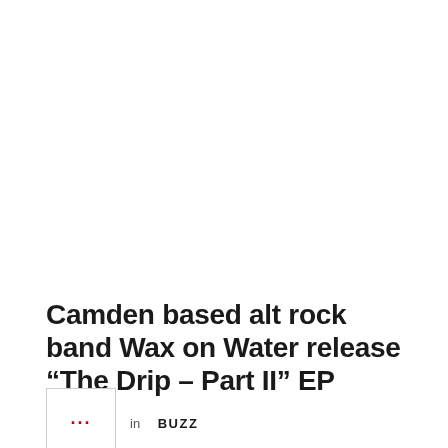Camden based alt rock band Wax on Water release “The Drip – Part II” EP
in BUZZ